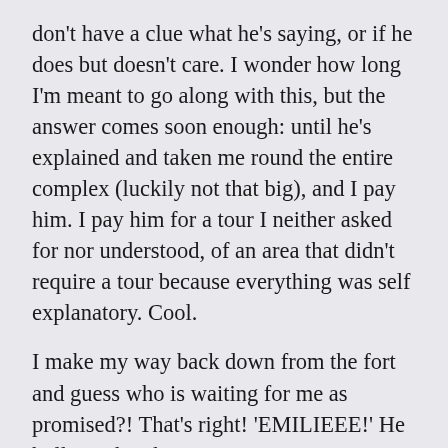don't have a clue what he's saying, or if he does but doesn't care. I wonder how long I'm meant to go along with this, but the answer comes soon enough: until he's explained and taken me round the entire complex (luckily not that big), and I pay him. I pay him for a tour I neither asked for nor understood, of an area that didn't require a tour because everything was self explanatory. Cool.

I make my way back down from the fort and guess who is waiting for me as promised?! That's right! 'EMILIEEE!' He hollers when he sees me, 'You see?? I wait!' OH FOR F— ...I've been gone about 3 hours! I'm guessing he's gonna bang on about going for this chai. Oh god maybe I should just go for chai with him. I do like chai. And maybe it'll be the authentic experience I'd hoped for the other day in Agra?.... NO. I am under